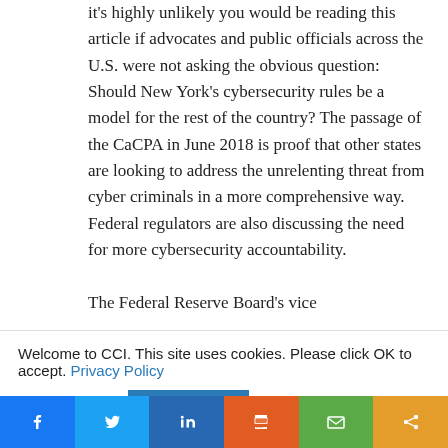it's highly unlikely you would be reading this article if advocates and public officials across the U.S. were not asking the obvious question: Should New York's cybersecurity rules be a model for the rest of the country? The passage of the CaCPA in June 2018 is proof that other states are looking to address the unrelenting threat from cyber criminals in a more comprehensive way. Federal regulators are also discussing the need for more cybersecurity accountability.
The Federal Reserve Board's vice
Welcome to CCI. This site uses cookies. Please click OK to accept. Privacy Policy
Cookie settings  ACCEPT